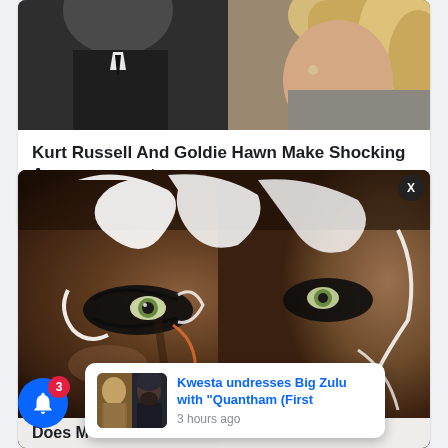[Figure (photo): Close-up photo of Kurt Russell and Goldie Hawn]
Kurt Russell And Goldie Hawn Make Shocking Announcement
Traitslab
[Figure (photo): Close-up sci-fi/artistic portrait of a woman with white body paint details over dark skin and green eyes]
Does M
[Figure (photo): Notification popup with two men's photo, titled Kwesta undresses Big Zulu with Quantham (First, 3 hours ago]